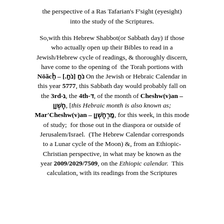the perspective of a Ras Tafarian's F'sight (eyesight) into the study of the Scriptures.
So,with this Hebrew Shabbot(or Sabbath day) if those who actually open up their Bibles to read in a Jewish/Hebrew cycle of readings, & thoroughly discern, have come to the opening of the Torah portions with Nōãcḥ – נֹחַ [נֹחַ.] On the Jewish or Hebraic Calendar in this year 5777, this Sabbath day would probably fall on the 3rd-ג, the 4th-ד, of the month of Cheshw(v)an – חֶשְׁוָן, [this Hebraic month is also known as; Mar'Cheshw(v)an – מַרְחֶשְׁוָן, for this week, in this mode of study; for those out in the diaspora or outside of Jerusalem/Israel. (The Hebrew Calendar corresponds to a Lunar cycle of the Moon) &, from an Ethiopic-Christian perspective, in what may be known as the year 2009/2029/7509, on the Ethiopic calendar. This calculation, with its readings from the Scriptures